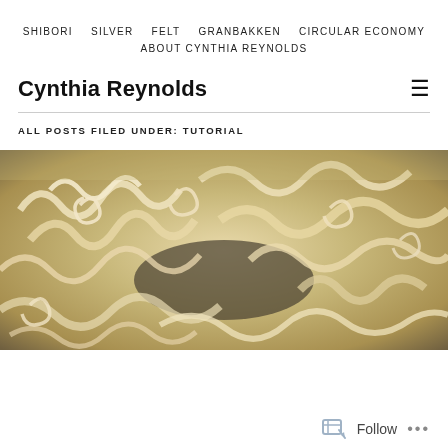SHIBORI   SILVER   FELT   GRANBAKKEN   CIRCULAR ECONOMY   ABOUT CYNTHIA REYNOLDS
Cynthia Reynolds
ALL POSTS FILED UNDER: TUTORIAL
[Figure (photo): Close-up photograph of curly blonde wool or fleece fibers, showing natural texture and curl patterns.]
Follow ...